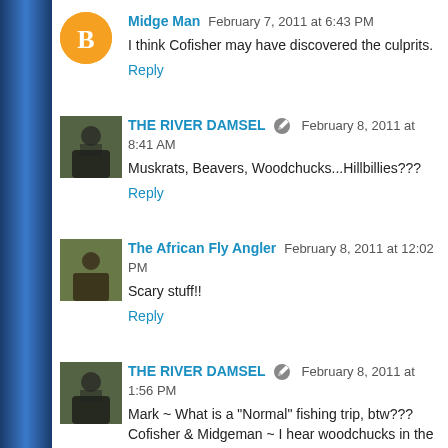[Figure (other): Blue decorative left sidebar bar]
Midge Man  February 7, 2011 at 6:43 PM
I think Cofisher may have discovered the culprits.
Reply
THE RIVER DAMSEL  February 8, 2011 at 8:41 AM
Muskrats, Beavers, Woodchucks...Hillbillies???
Reply
The African Fly Angler  February 8, 2011 at 12:02 PM
Scary stuff!!
Reply
THE RIVER DAMSEL  February 8, 2011 at 1:56 PM
Mark ~ What is a "Normal" fishing trip, btw???
Cofisher & Midgeman ~ I hear woodchucks in the next post!
AFA ~ Let's just say that I don't want a repeat!